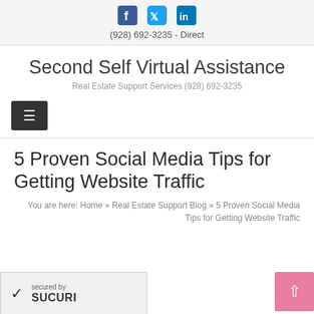Social media icons: Facebook, Twitter, LinkedIn | (928) 692-3235 - Direct
Second Self Virtual Assistance
Real Estate Support Services (928) 692-3235
[Figure (other): Navigation menu hamburger button (three horizontal lines) on dark background]
5 Proven Social Media Tips for Getting Website Traffic
You are here: Home » Real Estate Support Blog » 5 Proven Social Media Tips for Getting Website Traffic
[Figure (logo): Secured by Sucuri badge with checkmark]
5 Proven Social Media Tips for...